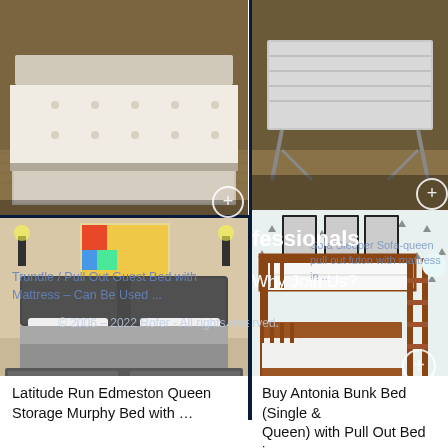[Figure (photo): Trundle / pull-out guest bed with white mattress on herringbone wood floor]
[Figure (photo): Folding bed with silver/grey mattress on a frame, elevated at an angle]
fessionals
Why Join Us?
Trundle / Pull Out Guest Bed with Mattress – Can Be Used ...
Sofa Sleeper Sofa-queen pull out futon with mattress in ...
© 2006 – 2022 Rofer - All rights reserved.
[Figure (photo): Latitude Run Edmeston Queen Storage Murphy Bed with storage drawers, dark grey upholstered headboard, grey bedding]
[Figure (photo): Antonia Bunk Bed in brown wood, single over queen with pull out bed, against spotted wallpaper]
Latitude Run Edmeston Queen Storage Murphy Bed with ...
Buy Antonia Bunk Bed (Single & Queen) with Pull Out Bed in ...